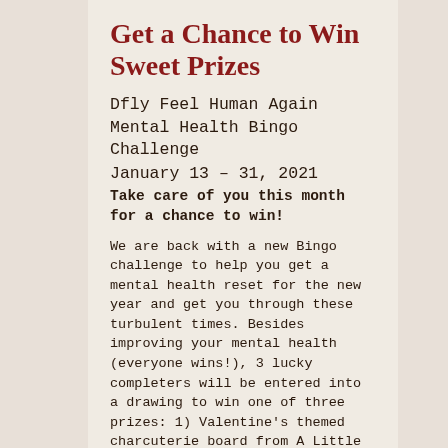Get a Chance to Win Sweet Prizes
Dfly Feel Human Again Mental Health Bingo Challenge
January 13 – 31, 2021
Take care of you this month for a chance to win!
We are back with a new Bingo challenge to help you get a mental health reset for the new year and get you through these turbulent times. Besides improving your mental health (everyone wins!), 3 lucky completers will be entered into a drawing to win one of three prizes: 1) Valentine's themed charcuterie board from A Little Bit Board + $50 gift card to Steve's Wine & Liquor; 2) 15 minute chair massage from Bergamot Massage; or